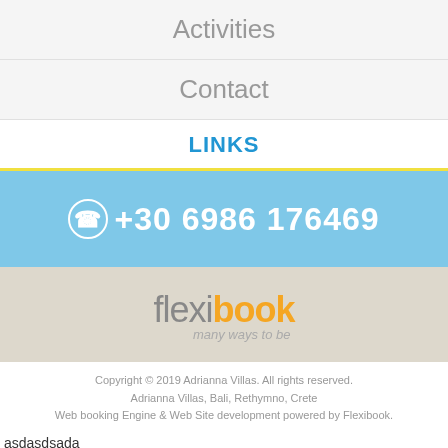Activities
Contact
LINKS
+30 6986 176469
[Figure (logo): Flexibook logo with tagline 'many ways to be']
Copyright © 2019 Adrianna Villas. All rights reserved. Adrianna Villas, Bali, Rethymno, Crete Web booking Engine & Web Site development powered by Flexibook.
asdasdsada